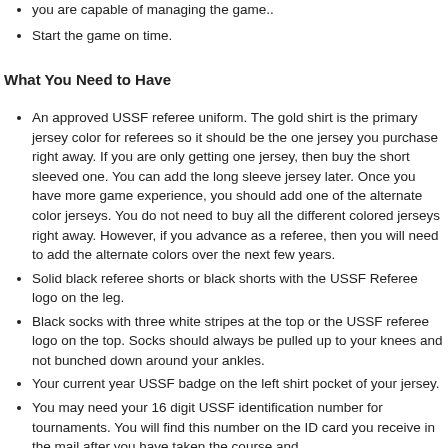you are capable of managing the game.
Start the game on time.
What You Need to Have
An approved USSF referee uniform. The gold shirt is the primary jersey color for referees so it should be the one jersey you purchase right away. If you are only getting one jersey, then buy the short sleeved one. You can add the long sleeve jersey later. Once you have more game experience, you should add one of the alternate color jerseys. You do not need to buy all the different colored jerseys right away. However, if you advance as a referee, then you will need to add the alternate colors over the next few years.
Solid black referee shorts or black shorts with the USSF Referee logo on the leg.
Black socks with three white stripes at the top or the USSF referee logo on the top. Socks should always be pulled up to your knees and not bunched down around your ankles.
Your current year USSF badge on the left shirt pocket of your jersey.
You may need your 16 digit USSF identification number for tournaments. You will find this number on the ID card you receive in the mail after you have taken the course and